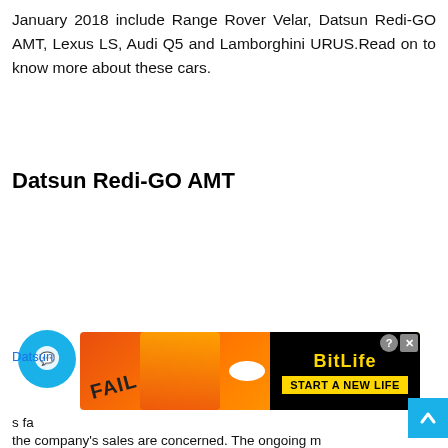January 2018 include Range Rover Velar, Datsun Redi-GO AMT, Lexus LS, Audi Q5 and Lamborghini URUS.Read on to know more about these cars.
Datsun Redi-GO AMT
[Figure (other): Advertisement banner for BitLife game featuring a cartoon character and 'FAIL' text with fire, and a 'START A NEW LIFE' button on black background. Also includes a chat bubble icon and a scroll-to-top button.]
Datsun ... s fa...
the company's sales are concerned. The ongoing m...